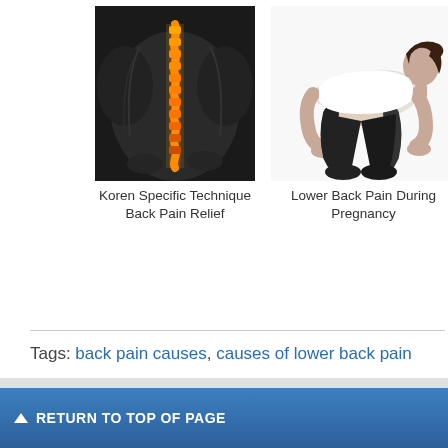[Figure (photo): Anatomical illustration of human back with glowing orange spine on dark background]
Koren Specific Technique Back Pain Relief
[Figure (photo): Pregnant woman on hands and knees doing cat-cow stretch exercise on white background]
Lower Back Pain During Pregnancy
[Figure (photo): Blue-toned anatomical figure partially visible on dark background - Blood In...]
Blood I...
Tags: back pain causes, causes of lower back pain
▲ RETURN TO TOP OF PAGE